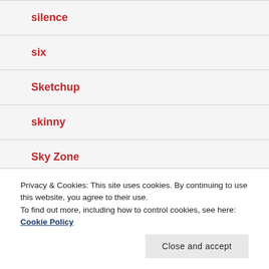silence
six
Sketchup
skinny
Sky Zone
sleeping
Privacy & Cookies: This site uses cookies. By continuing to use this website, you agree to their use. To find out more, including how to control cookies, see here: Cookie Policy
Sochi